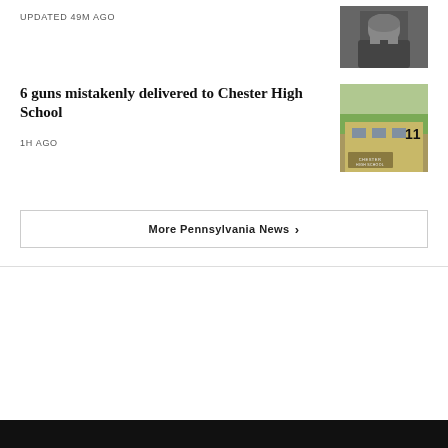UPDATED 49M AGO
[Figure (photo): Person with crossed arms, tattoos visible, wearing dark t-shirt]
6 guns mistakenly delivered to Chester High School
1H AGO
[Figure (photo): Chester High School building exterior with sign]
More Pennsylvania News ›